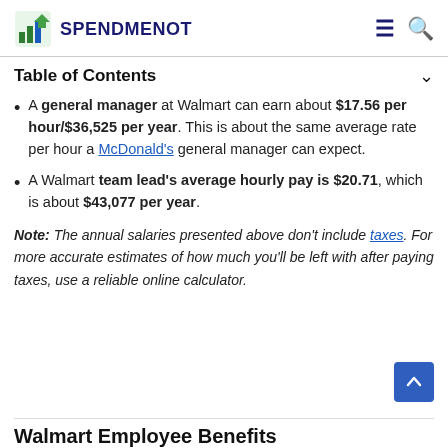SPENDMENOT
Table of Contents
A general manager at Walmart can earn about $17.56 per hour/$36,525 per year. This is about the same average rate per hour a McDonald's general manager can expect.
A Walmart team lead's average hourly pay is $20.71, which is about $43,077 per year.
Note: The annual salaries presented above don't include taxes. For more accurate estimates of how much you'll be left with after paying taxes, use a reliable online calculator.
Walmart Employee Benefits